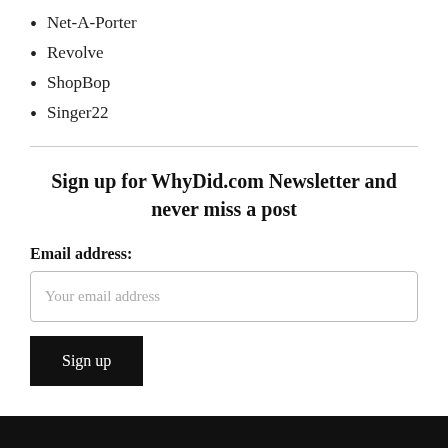Net-A-Porter
Revolve
ShopBop
Singer22
Sign up for WhyDid.com Newsletter and never miss a post
Email address:
Your email address
Sign up